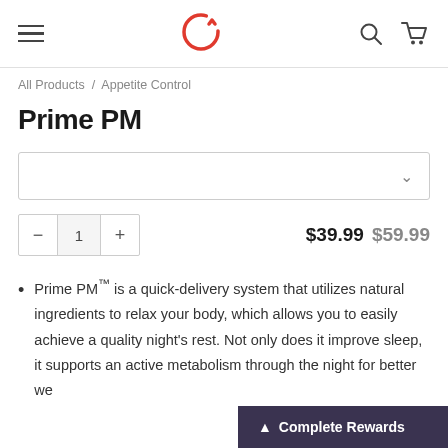Navigation bar with hamburger menu, circular logo, search icon, and cart icon
All Products / Appetite Control
Prime PM
Dropdown selector (empty, with chevron)
Quantity: 1  |  $39.99  $59.99
Prime PM™ is a quick-delivery system that utilizes natural ingredients to relax your body, which allows you to easily achieve a quality night's rest. Not only does it improve sleep, it supports an active metabolism through the night for better we…
▲ Complete Rewards